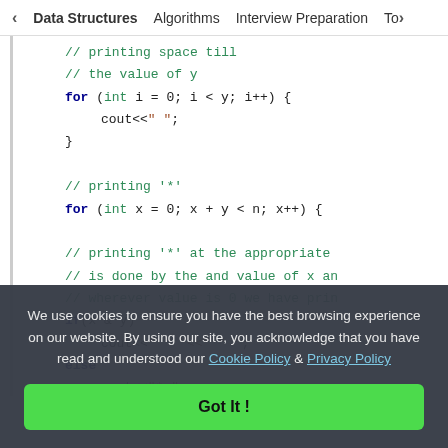< Data Structures   Algorithms   Interview Preparation   Top>
// printing space till
// the value of y
for (int i = 0; i < y; i++) {
    cout<<" ";
}

// printing '*'
for (int x = 0; x + y < n; x++) {

// printing '*' at the appropriate
// is done by the and value of x an
// wherever value is 0 we have prin
if(x & y)
    cout<<" " "<<" ";
else
    cout<<"* ";
We use cookies to ensure you have the best browsing experience on our website. By using our site, you acknowledge that you have read and understood our Cookie Policy & Privacy Policy
Got It !